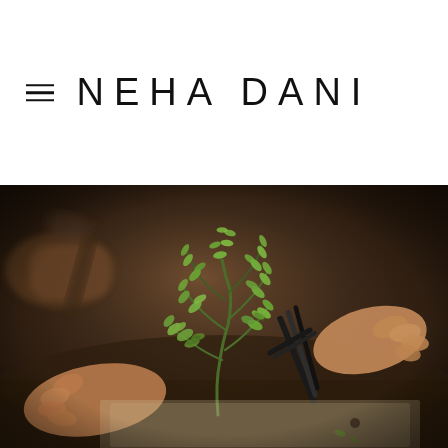NEHA DANI
[Figure (photo): Close-up photograph of hands using tweezers and a tool to work on an intricate green botanical/leaf jewelry piece on a workbench, set against a warm dark background]